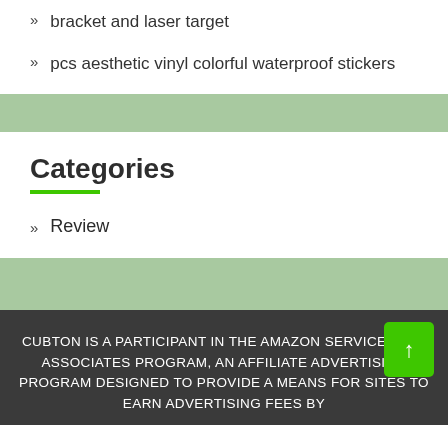bracket and laser target
pcs aesthetic vinyl colorful waterproof stickers
Categories
Review
CUBTON IS A PARTICIPANT IN THE AMAZON SERVICES LLC ASSOCIATES PROGRAM, AN AFFILIATE ADVERTISING PROGRAM DESIGNED TO PROVIDE A MEANS FOR SITES TO EARN ADVERTISING FEES BY